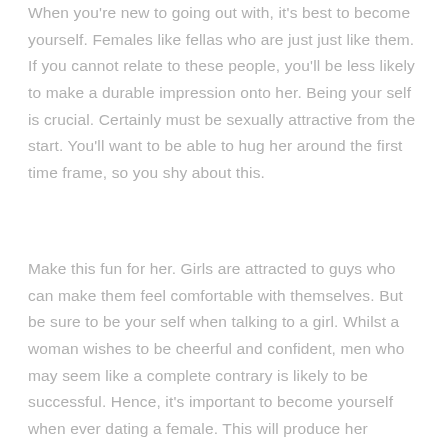When you're new to going out with, it's best to become yourself. Females like fellas who are just just like them. If you cannot relate to these people, you'll be less likely to make a durable impression onto her. Being your self is crucial. Certainly must be sexually attractive from the start. You'll want to be able to hug her around the first time frame, so you shy about this.
Make this fun for her. Girls are attracted to guys who can make them feel comfortable with themselves. But be sure to be your self when talking to a girl. Whilst a woman wishes to be cheerful and confident, men who may seem like a complete contrary is likely to be successful. Hence, it's important to become yourself when ever dating a female. This will produce her experience more comfortable with you, and also make her more interested